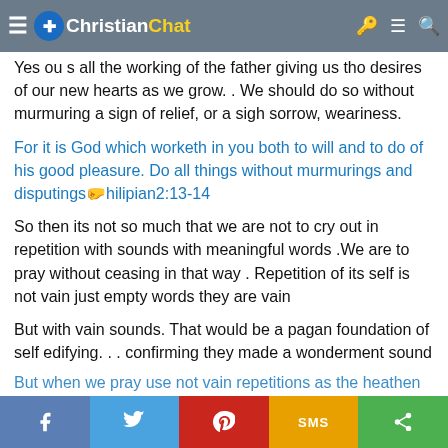ChristianChat
Yes ou s all the working of the father giving us tho desires of our new hearts as we grow. . We should do so without murmuring a sign of relief, or a sigh sorrow, weariness.
For it is God which worketh in you both to will and to do of his good pleasure. Do all things without murmurings and disputings😛hilipian2:13-14
So then its not so much that we are not to cry out in repetition with sounds with meaningful words .We are to pray without ceasing in that way . Repetition of its self is not vain just empty words they are vain
But with vain sounds. That would be a pagan foundation of self edifying. . . confirming they made a wonderment sound
But when we pray use not vain repetitions as the heathen
Share buttons: Facebook, Twitter, Pinterest, SMS, More